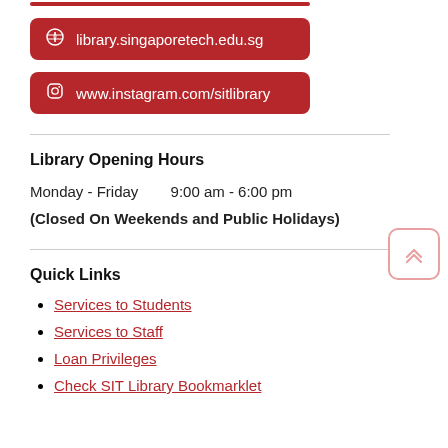library.singaporetech.edu.sg
www.instagram.com/sitlibrary
Library Opening Hours
Monday - Friday    9:00 am - 6:00 pm
(Closed On Weekends and Public Holidays)
Quick Links
Services to Students
Services to Staff
Loan Privileges
Check SIT Library Bookmarklet